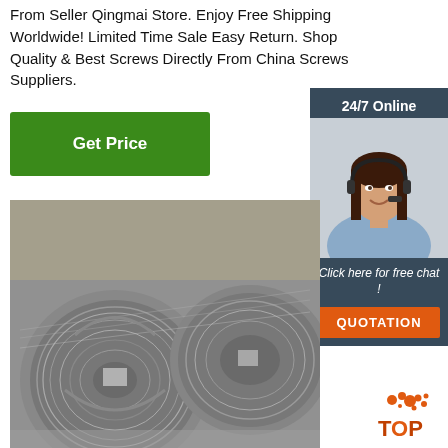From Seller Qingmai Store. Enjoy Free Shipping Worldwide! Limited Time Sale Easy Return. Shop Quality & Best Screws Directly From China Screws Suppliers.
Get Price
[Figure (photo): Customer service representative with headset, 24/7 Online chat widget with dark blue background and orange QUOTATION button]
[Figure (photo): Large coils of steel wire rod stacked in a warehouse]
[Figure (logo): TOP logo with orange dot pattern]